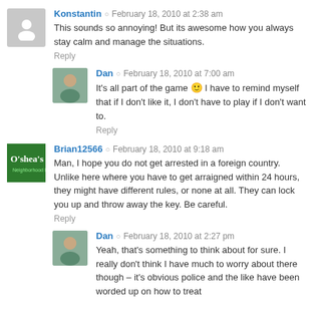Konstantin · February 18, 2010 at 2:38 am
This sounds so annoying! But its awesome how you always stay calm and manage the situations.
Reply
Dan · February 18, 2010 at 7:00 am
It's all part of the game 🙂 I have to remind myself that if I don't like it, I don't have to play if I don't want to.
Reply
Brian12566 · February 18, 2010 at 9:18 am
Man, I hope you do not get arrested in a foreign country. Unlike here where you have to get arraigned within 24 hours, they might have different rules, or none at all. They can lock you up and throw away the key. Be careful.
Reply
Dan · February 18, 2010 at 2:27 pm
Yeah, that's something to think about for sure. I really don't think I have much to worry about there though – it's obvious police and the like have been worded up on how to treat